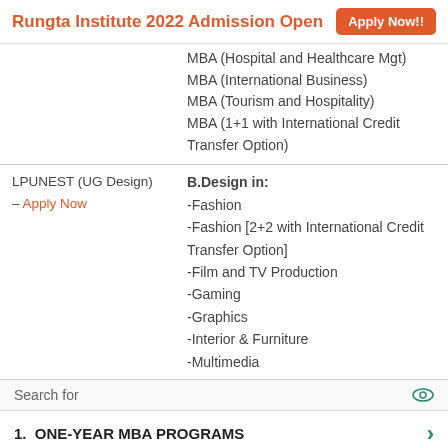Rungta Institute 2022 Admission Open   Apply Now!!
MBA (Hospital and Healthcare Mgt)
MBA (International Business)
MBA (Tourism and Hospitality)
MBA (1+1 with International Credit Transfer Option)
LPUNEST (UG Design) – Apply Now
B.Design in: -Fashion -Fashion [2+2 with International Credit Transfer Option] -Film and TV Production -Gaming -Graphics -Interior & Furniture -Multimedia
Search for
1.  ONE-YEAR MBA PROGRAMS
2.  BEST MBA COLLEGES